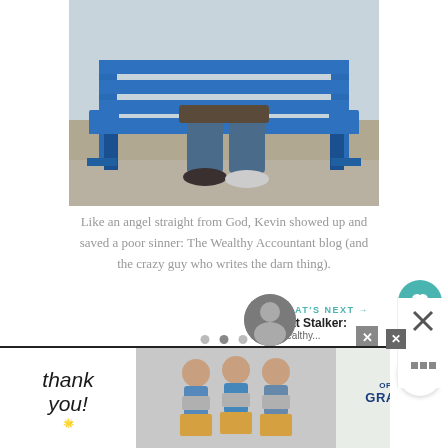[Figure (photo): Person sitting on a blue outdoor bench, legs visible, wearing jeans and sneakers. Photo cropped at torso level showing blue wooden bench against a light background.]
Like an angel straight from God, Kevin showed up and saved a poor sinner: The Wealthy Accountant blog (and the crazy guy who writes the darn thing).
[Figure (screenshot): Carousel/slideshow area with dots navigation indicator (three dots) and social interaction buttons (like heart button showing count of 2, and share button). Below is a 'WHAT'S NEXT' section showing 'Stat Stalker:' article preview with thumbnail.]
[Figure (photo): Advertisement banner at bottom: Thank You (handwritten style) with American flag pencil graphic on left, group photo of masked people holding boxes in center, Operation Gratitude logo on right. Close button (X) visible.]